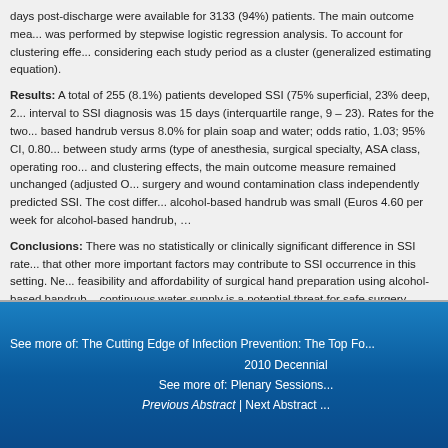days post-discharge were available for 3133 (94%) patients. The main outcome measure was performed by stepwise logistic regression analysis. To account for clustering effects, considering each study period as a cluster (generalized estimating equation).
Results: A total of 255 (8.1%) patients developed SSI (75% superficial, 23% deep, 2% organ/space). The median interval to SSI diagnosis was 15 days (interquartile range, 9 – 23). Rates for the two study arms were 8.3% for alcohol-based handrub versus 8.0% for plain soap and water; odds ratio, 1.03; 95% CI, 0.80–1.33). After adjusting for differences between study arms (type of anesthesia, surgical specialty, ASA class, operating room, and clustering effects, the main outcome measure remained unchanged (adjusted OR). Emergency surgery and wound contamination class independently predicted SSI. The cost difference of using alcohol-based handrub was small (Euros 4.60 per week for alcohol-based handrub, …).
Conclusions: There was no statistically or clinically significant difference in SSI rates. Our findings suggest that other more important factors may contribute to SSI occurrence in this setting. Nevertheless, the feasibility and affordability of surgical hand preparation using alcohol-based handrub in settings without continuous water supply is a potential threat for safe surgery.
See more of: The Cutting Edge of Infection Prevention: The Top Forum Sessions 2010 Decennial
See more of: Plenary Sessions
Previous Abstract | Next Abstract